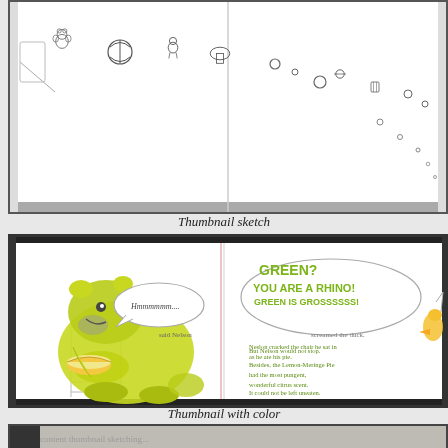[Figure (illustration): Thumbnail sketch: pencil drawing of a trail of small toys and objects (teddy bear, ball, mushroom, various items) scattered diagonally across two pages of an open book, on white background with a dividing line in the middle]
Thumbnail sketch
[Figure (illustration): Thumbnail with color: illustration of a large green rhino named Nelson sitting in a chair eating a lemon meringue pie, with speech bubbles. Left page shows rhino colored yellow-green with pencil sketch background. Right page has green text reading 'GREEN? YOU ARE A RHINO! GREEN IS GROSSSSSS!' and smaller green text body copy. Speech bubbles say 'Hmmmmmm....' said Nelson, and 'screamed the duck.' Text reads: But Nelson would not stop. Besides, the Lemon-Meringe Pie had the most pungent, wonderful citrus scent. It could not be left uneaten. Neslon cracked the chair he sat in as he ate his pie.]
Thumbnail with color
[Figure (photo): Bottom strip showing partial view of a document or artwork with handwritten text, dimly visible]